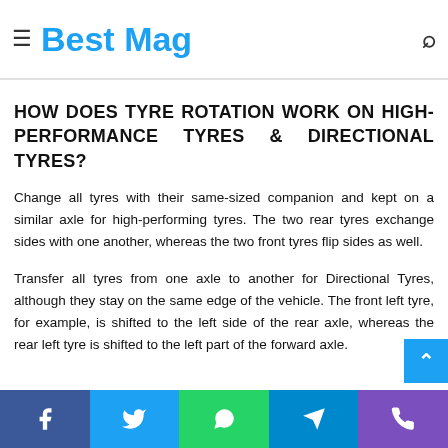Best Mag
HOW DOES TYRE ROTATION WORK ON HIGH-PERFORMANCE TYRES & DIRECTIONAL TYRES?
Change all tyres with their same-sized companion and kept on a similar axle for high-performing tyres. The two rear tyres exchange sides with one another, whereas the two front tyres flip sides as well.
Transfer all tyres from one axle to another for Directional Tyres, although they stay on the same edge of the vehicle. The front left tyre, for example, is shifted to the left side of the rear axle, whereas the rear left tyre is shifted to the left part of the forward axle.
Social share bar: Facebook, Twitter, WhatsApp, Telegram, Phone